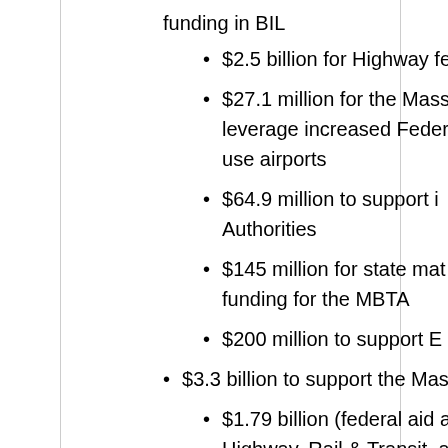funding in BIL
$2.5 billion for Highway fe
$27.1 million for the Mass leverage increased Feder use airports
$64.9 million to support i Authorities
$145 million for state mat funding for the MBTA
$200 million to support E
$3.3 billion to support the MassDC
$1.79 billion (federal aid and n Highway, Rail & Transit, and O our capital program through 2
$150.8 million in new federal funding provided under the C